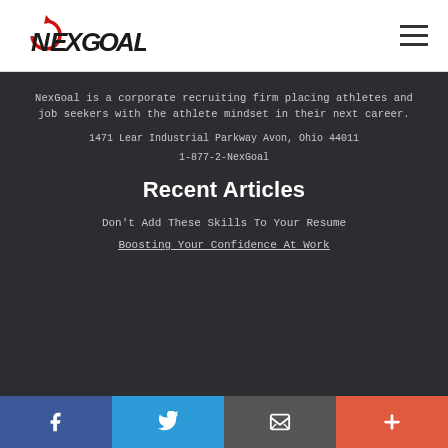[Figure (logo): NexGoal logo with red circular arrow and stylized text]
NexGoal is a corporate recruiting firm placing athletes and job seekers with the athlete mindset in their next career.
1471 Lear Industrial Parkway Avon, Ohio 44011
1-877-2-NexGoal
Recent Articles
Don't Add These Skills To Your Resume
Boosting Your Confidence At Work